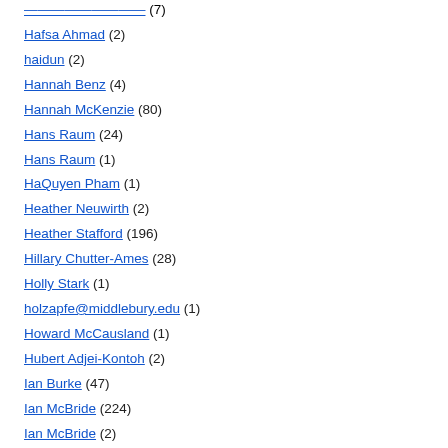Hafsa Ahmad (2)
haidun (2)
Hannah Benz (4)
Hannah McKenzie (80)
Hans Raum (24)
Hans Raum (1)
HaQuyen Pham (1)
Heather Neuwirth (2)
Heather Stafford (196)
Hillary Chutter-Ames (28)
Holly Stark (1)
holzapfe@middlebury.edu (1)
Howard McCausland (1)
Hubert Adjei-Kontoh (2)
Ian Burke (47)
Ian McBride (224)
Ian McBride (2)
imcbride@middlebury.edu (2)